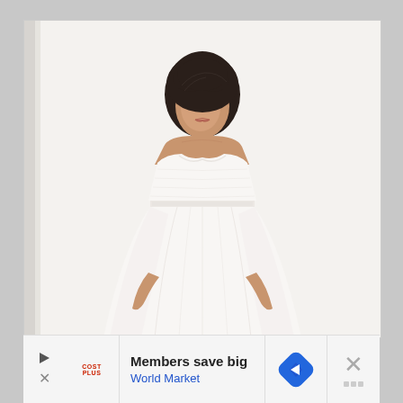[Figure (photo): A young woman with dark hair in an updo wearing a strapless sweetheart-neckline white wedding gown, photographed against a plain white/light grey background. She is standing facing the camera, the dress is a flowing A-line style with a fitted bodice.]
Members save big
World Market